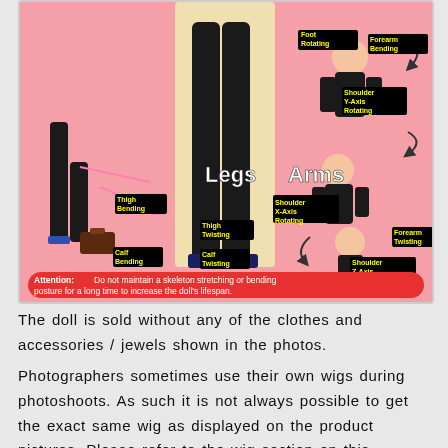[Figure (infographic): Anime-style doll posing guide showing articulation points for Legs (Thigh Bending, Thigh Twisting, Calf Bending, Calf Twisting, Foot Rotating) and Arms (Wrist Twisting, Forearm Bending, Shoulder Y-Axis Rotating, Forearm Twisting, Shoulder X-Axis Rotating, Shoulder Z-Axis Rotating). Features anime character illustrations in a pink background with black and yellow label tags for each joint movement. An attention box at the bottom reads: 'Attention: Do not maintain a skeleton stretching or bending posture for a long time to increase the doll's lifespan.']
The doll is sold without any of the clothes and accessories / jewels shown in the photos.
Photographers sometimes use their own wigs during photoshoots. As such it is not always possible to get the exact same wig as displayed on the product pictures. Please refer to the wig section on this product page to know which wigs and is available for your doll.